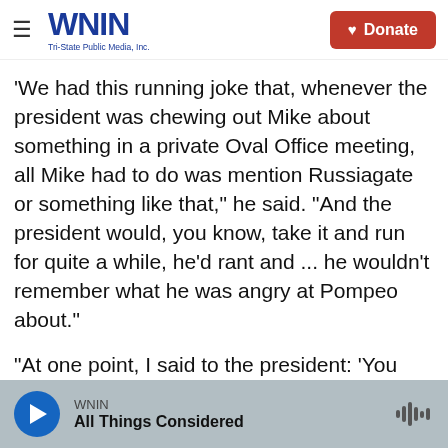WNIN Tri-State Public Media, Inc. | Donate
'We had this running joke that, whenever the president was chewing out Mike about something in a private Oval Office meeting, all Mike had to do was mention Russiagate or something like that,' he said. 'And the president would, you know, take it and run for quite a while, he'd rant and ... he wouldn't remember what he was angry at Pompeo about.'
"At one point, I said to the president: 'You know, Mr. President, you're like a bull in a bull ring and your adversaries have your number. They know how to get under your skin, and all they have to do is wave a red flag and you charge and ...
WNIN | All Things Considered